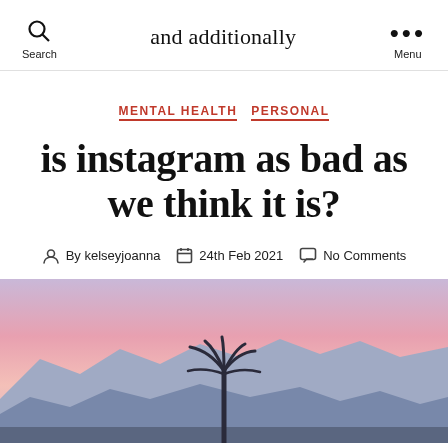and additionally
MENTAL HEALTH   PERSONAL
is instagram as bad as we think it is?
By kelseyjoanna   24th Feb 2021   No Comments
[Figure (photo): A pink and purple sunset sky with silhouettes of a palm tree and mountain ridgeline in the foreground.]